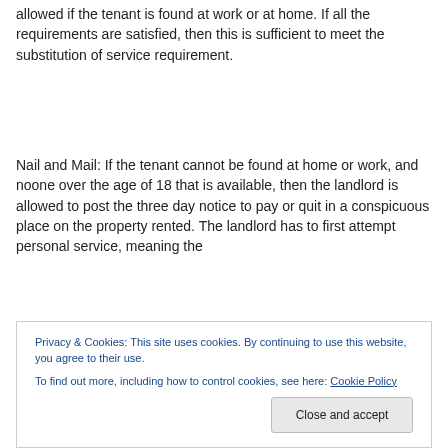allowed if the tenant is found at work or at home. If all the requirements are satisfied, then this is sufficient to meet the substitution of service requirement.
Nail and Mail: If the tenant cannot be found at home or work, and noone over the age of 18 that is available, then the landlord is allowed to post the three day notice to pay or quit in a conspicuous place on the property rented. The landlord has to first attempt personal service, meaning the
Privacy & Cookies: This site uses cookies. By continuing to use this website, you agree to their use.
To find out more, including how to control cookies, see here: Cookie Policy